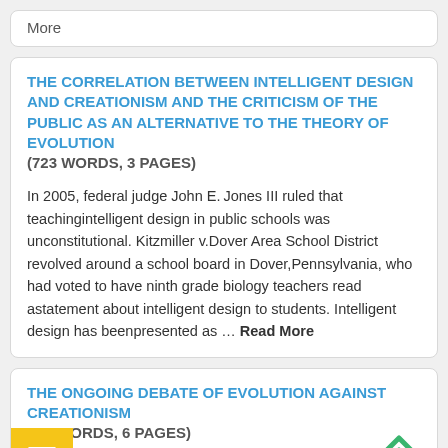More
THE CORRELATION BETWEEN INTELLIGENT DESIGN AND CREATIONISM AND THE CRITICISM OF THE PUBLIC AS AN ALTERNATIVE TO THE THEORY OF EVOLUTION (723 WORDS, 3 PAGES)
In 2005, federal judge John E. Jones III ruled that teachingintelligent design in public schools was unconstitutional. Kitzmiller v.Dover Area School District revolved around a school board in Dover,Pennsylvania, who had voted to have ninth grade biology teachers read astatement about intelligent design to students. Intelligent design has beenpresented as ... Read More
THE ONGOING DEBATE OF EVOLUTION AGAINST CREATIONISM (983 WORDS, 6 PAGES)
Why are we here? Who, or what put us here? Why does